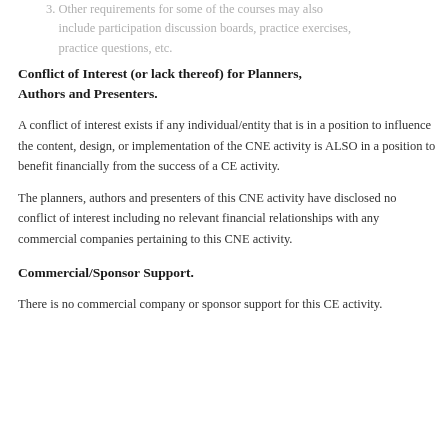3. Other requirements for some of the courses may also include participation discussion boards, practice exercises, practice questions, etc.
Conflict of Interest (or lack thereof) for Planners, Authors and Presenters.
A conflict of interest exists if any individual/entity that is in a position to influence the content, design, or implementation of the CNE activity is ALSO in a position to benefit financially from the success of a CE activity.
The planners, authors and presenters of this CNE activity have disclosed no conflict of interest including no relevant financial relationships with any commercial companies pertaining to this CNE activity.
Commercial/Sponsor Support.
There is no commercial company or sponsor support for this CE activity.